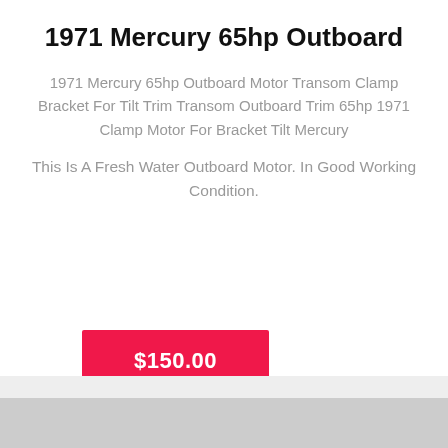1971 Mercury 65hp Outboard
1971 Mercury 65hp Outboard Motor Transom Clamp Bracket For Tilt Trim Transom Outboard Trim 65hp 1971 Clamp Motor For Bracket Tilt Mercury
This Is A Fresh Water Outboard Motor. In Good Working Condition.
$150.00
[Figure (photo): Partial photo strip at bottom of page showing outdoor scene]